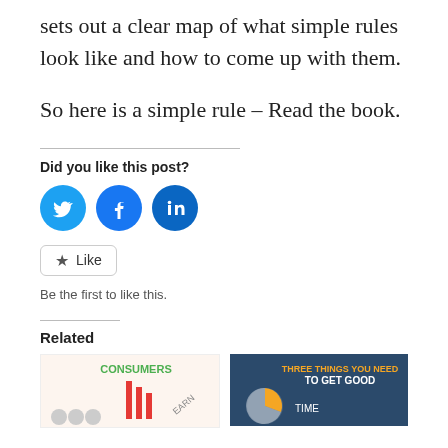sets out a clear map of what simple rules look like and how to come up with them.
So here is a simple rule – Read the book.
Did you like this post?
[Figure (illustration): Three social media share buttons: Twitter (bird icon), Facebook (f icon), LinkedIn (in icon), all in teal/blue circles]
[Figure (illustration): A like button with a star icon and the text 'Like', followed by text 'Be the first to like this.']
Be the first to like this.
Related
[Figure (illustration): Thumbnail image showing 'CONSUMERS' text and bar chart elements with 'EARN' label]
[Figure (illustration): Thumbnail showing 'THREE THINGS YOU NEED TO GET GOOD' with a pie chart and 'TIME' label]